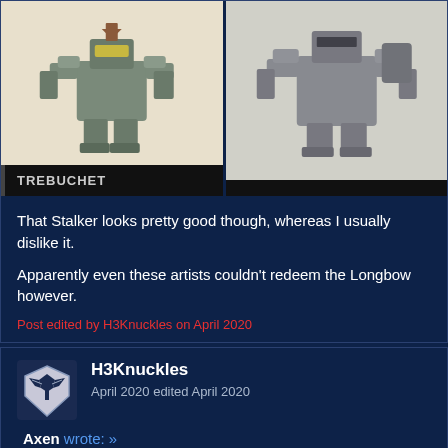[Figure (illustration): Two mech robot illustrations side by side. Left mech labeled TREBUCHET on a black banner, right mech with black banner (label not visible). Beige/cream background on left, grey background on right.]
That Stalker looks pretty good though, whereas I usually dislike it.
Apparently even these artists couldn't redeem the Longbow however.
Post edited by H3Knuckles on April 2020
H3Knuckles
April 2020 edited April 2020
Axen wrote: »